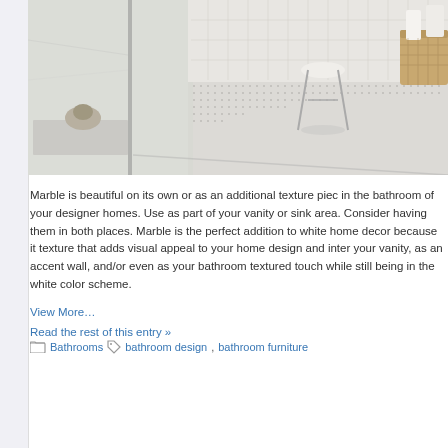[Figure (photo): Luxury marble bathroom interior showing a glass shower enclosure, mosaic tile floor with dot pattern, white marble walls, a white round stool, and a wicker basket with towels.]
Marble is beautiful on its own or as an additional texture piece in the bathroom of your designer homes. Use as part of your vanity or sink area. Consider having them in both places. Marble is the perfect addition to white home decor because it texture that adds visual appeal to your home design and inter your vanity, as an accent wall, and/or even as your bathroom textured touch while still being in the white color scheme.
View More…
Read the rest of this entry »
Bathrooms   bathroom design, bathroom furniture